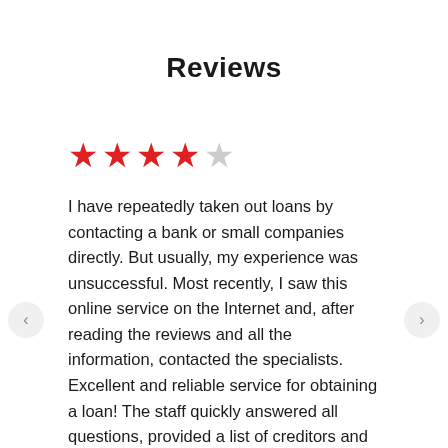Reviews
[Figure (other): 4 out of 5 stars rating displayed as 4 red filled stars and 1 gray empty star]
I have repeatedly taken out loans by contacting a bank or small companies directly. But usually, my experience was unsuccessful. Most recently, I saw this online service on the Internet and, after reading the reviews and all the information, contacted the specialists. Excellent and reliable service for obtaining a loan! The staff quickly answered all questions, provided a list of creditors and loan terms. I am glad that I found such a responsible team of professionals, thanks to whom I received the right amount.